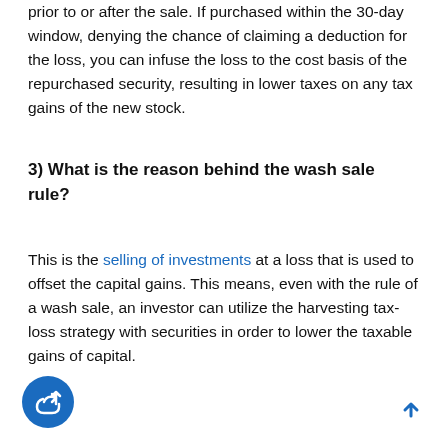prior to or after the sale. If purchased within the 30-day window, denying the chance of claiming a deduction for the loss, you can infuse the loss to the cost basis of the repurchased security, resulting in lower taxes on any tax gains of the new stock.
3) What is the reason behind the wash sale rule?
This is the selling of investments at a loss that is used to offset the capital gains. This means, even with the rule of a wash sale, an investor can utilize the harvesting tax-loss strategy with securities in order to lower the taxable gains of capital.